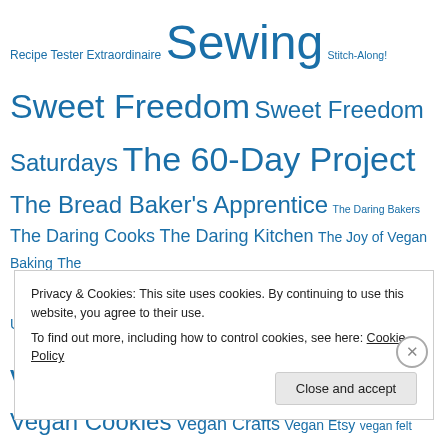Recipe Tester Extraordinaire Sewing Stitch-Along! Sweet Freedom Sweet Freedom Saturdays The 60-Day Project The Bread Baker's Apprentice The Daring Bakers The Daring Cooks The Daring Kitchen The Joy of Vegan Baking The Urban Vegan Tie One On tofu Tutorials vegan vegan baking Vegan Cookies Vegan Crafts Vegan Etsy vegan felt vegan food veganism Vegan Meal Plan Vegan MoFo Vegan Pasta W.I.P. Wednesday Yeast Spotting
Privacy & Cookies: This site uses cookies. By continuing to use this website, you agree to their use. To find out more, including how to control cookies, see here: Cookie Policy
Close and accept